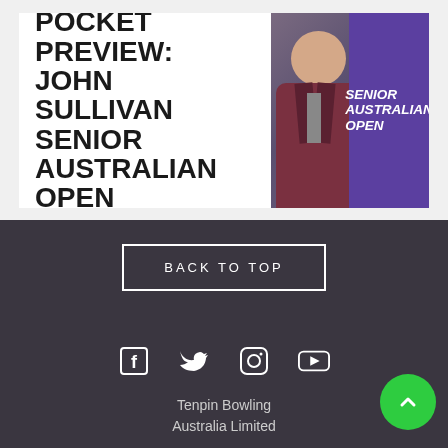POCKET PREVIEW: JOHN SULLIVAN SENIOR AUSTRALIAN OPEN
[Figure (photo): Photo of John Sullivan in a suit with a purple overlay banner reading SENIOR AUSTRALIAN OPEN]
BACK TO TOP
[Figure (infographic): Social media icons: Facebook, Twitter, Instagram, YouTube]
Tenpin Bowling Australia Limited